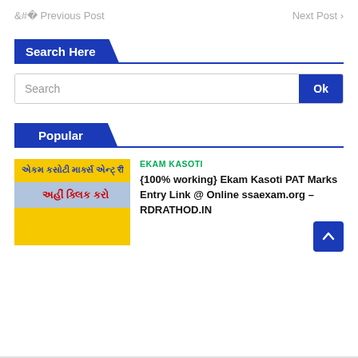< Previous Post    Next Post >
Search Here
Search  Ok
Popular
[Figure (illustration): Gujarati text image showing ekam kasoti marks entry with click here button]
EKAM KASOTI
{100% working} Ekam Kasoti PAT Marks Entry Link @ Online ssaexam.org – RDRATHOD.IN